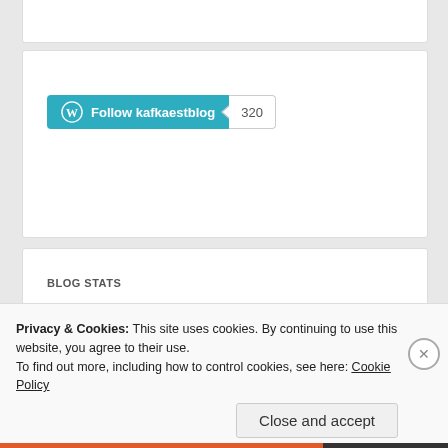[Figure (screenshot): WordPress Follow button for kafkaestblog with teal background and WordPress logo, showing follower count badge of 320]
BLOG STATS
» 31,246 hits
DALE ESTEY
[Figure (photo): Partial image visible at bottom of Dale Estey section, light blue-gray colored]
Privacy & Cookies: This site uses cookies. By continuing to use this website, you agree to their use.
To find out more, including how to control cookies, see here: Cookie Policy
Close and accept